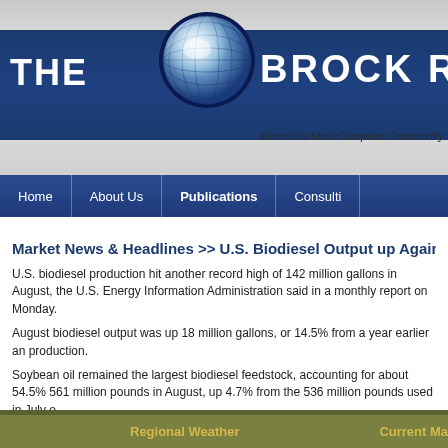[Figure (logo): The Brock Report logo with globe icon, dark blue banner, and tagline 'America's Most Complete Commodity Marketing']
Home | About Us | Publications | Consulting
Market News & Headlines >> U.S. Biodiesel Output up Again
U.S. biodiesel production hit another record high of 142 million gallons in August, the U.S. Energy Information Administration said in a monthly report on Monday.
August biodiesel output was up 18 million gallons, or 14.5% from a year earlier and production.
Soybean oil remained the largest biodiesel feedstock, accounting for about 54.5% 561 million pounds in August, up 4.7% from the 536 million pounds used in July.
Regional Weather    Current Ma